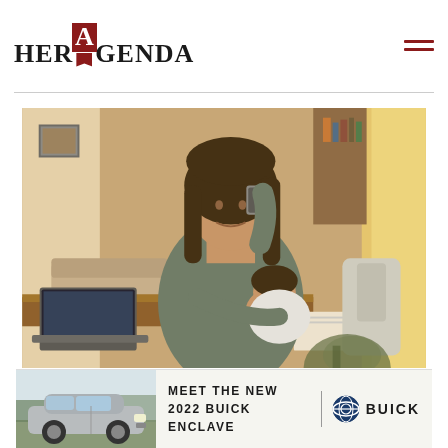HER AGENDA
[Figure (photo): A woman sitting at a wooden desk holding a phone to her ear while a young child sits on her lap. A laptop is open on the desk in front of her. Bookshelves and warm living room decor visible in the background.]
[Figure (photo): Advertisement: Meet the new 2022 Buick Enclave. Shows a silver Buick Enclave SUV parked outdoors with the Buick globe logo and brand name.]